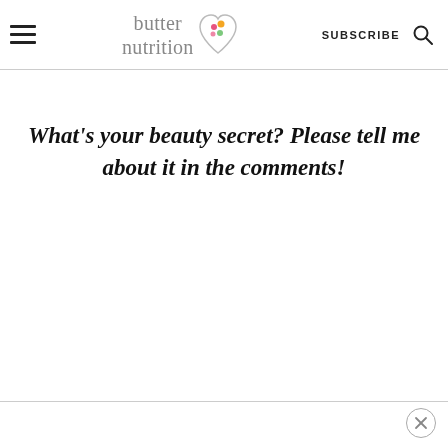butter nutrition — SUBSCRIBE
What's your beauty secret? Please tell me about it in the comments!